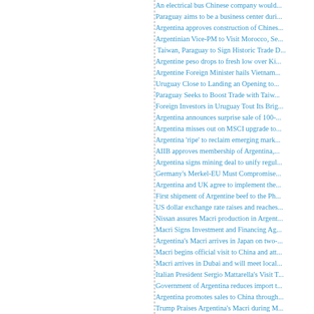An electrical bus Chinese company would...
Paraguay aims to be a business center dur...
Argentina approves construction of Chines...
Argentinian Vice-PM to Visit Morocco, Se...
Taiwan, Paraguay to Sign Historic Trade D...
Argentine peso drops to fresh low over Ki...
Argentine Foreign Minister hails Vietnam...
Uruguay Close to Landing an Opening to...
Paraguay Seeks to Boost Trade with Taiw...
Foreign Investors in Uruguay Tout Its Brig...
Argentina announces surprise sale of 100-...
Argentina misses out on MSCI upgrade to...
Argentina 'ripe' to reclaim emerging mark...
AIIB approves membership of Argentina,...
Argentina signs mining deal to unify regul...
Germany's Merkel-EU Must Compromise...
Argentina and UK agree to implement the...
First shipment of Argentine beef to the Ph...
US dollar exchange rate raises and reaches...
Nissan assures Macri production in Argent...
Macri Signs Investment and Financing Ag...
Argentina's Macri arrives in Japan on two-...
Macri begins official visit to China and att...
Macri arrives in Dubai and will meet local...
Italian President Sergio Mattarella's Visit T...
Government of Argentina reduces import t...
Argentina promotes sales to China through...
Trump Praises Argentina's Macri during M...